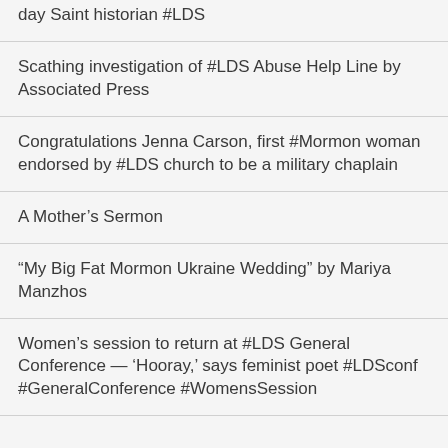day Saint historian #LDS
Scathing investigation of #LDS Abuse Help Line by Associated Press
Congratulations Jenna Carson, first #Mormon woman endorsed by #LDS church to be a military chaplain
A Mother's Sermon
“My Big Fat Mormon Ukraine Wedding” by Mariya Manzhos
Women’s session to return at #LDS General Conference — ‘Hooray,’ says feminist poet #LDSconf #GeneralConference #WomensSession